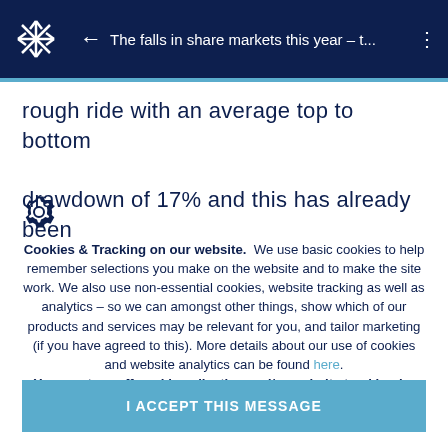The falls in share markets this year – t...
rough ride with an average top to bottom drawdown of 17% and this has already been
[Figure (other): Gear/settings icon]
Cookies & Tracking on our website. We use basic cookies to help remember selections you make on the website and to make the site work. We also use non-essential cookies, website tracking as well as analytics – so we can amongst other things, show which of our products and services may be relevant for you, and tailor marketing (if you have agreed to this). More details about our use of cookies and website analytics can be found here. You can turn off cookie collection and/or website tracking by updating your cookies & tracking preferences in your browser settings.
I ACCEPT THIS MESSAGE